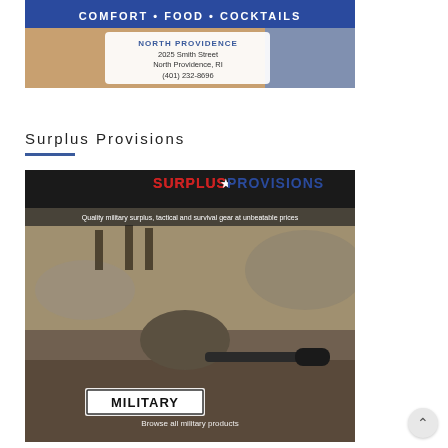[Figure (advertisement): Advertisement banner for a restaurant: 'COMFORT • FOOD • COCKTAILS' at top, white box with address: NORTH PROVIDENCE, 2025 Smith Street, North Providence, RI, (401) 232-8696. Background shows cocktail glasses.]
Surplus Provisions
[Figure (advertisement): Advertisement for Surplus Provisions - military surplus store. Logo at top reads 'SURPLUS PROVISIONS' with star. Tagline: 'Quality military surplus, tactical and survival gear at unbeatable prices'. Background photo of soldiers in desert combat gear with sniper. Label box reads 'MILITARY' with text 'Browse all military products'.]